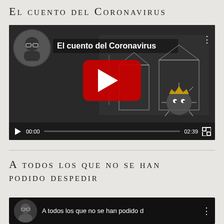El cuento del Coronavirus
[Figure (screenshot): YouTube video thumbnail/player showing 'El cuento del Coronavirus' video with animated cartoon of a street scene with a coronavirus character wearing a crown. Shows video controls with timestamp 00:00 and 02:39.]
A todos los que no se han podido despedir
[Figure (screenshot): YouTube video thumbnail/player showing 'A todos los que no se han podido d...' video, partially visible at bottom of page.]